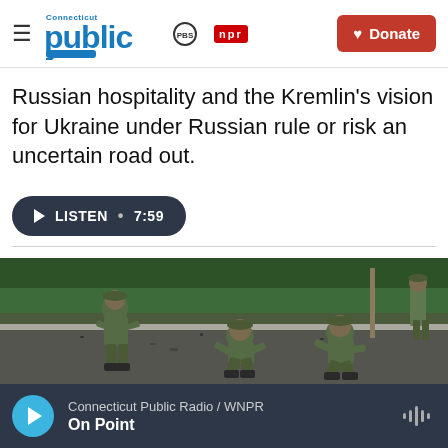Connecticut Public PBS NPR | Donate
Russian hospitality and the Kremlin's vision for Ukraine under Russian rule or risk an uncertain road out.
LISTEN • 7:59
[Figure (photo): Soldiers in green military uniforms crouching on a road examining debris from what appears to be an explosion or attack site, with trees and utility poles in the background.]
Connecticut Public Radio / WNPR — On Point